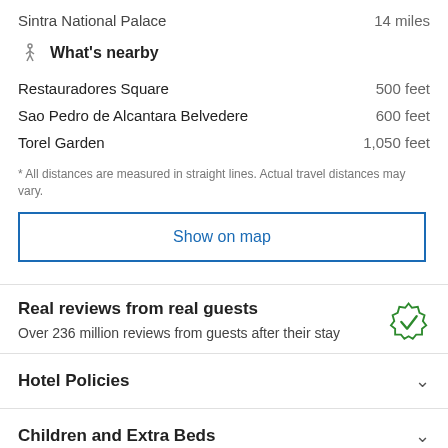Sintra National Palace — 14 miles
What's nearby
Restauradores Square — 500 feet
Sao Pedro de Alcantara Belvedere — 600 feet
Torel Garden — 1,050 feet
* All distances are measured in straight lines. Actual travel distances may vary.
Show on map
Real reviews from real guests
Over 236 million reviews from guests after their stay
Hotel Policies
Children and Extra Beds